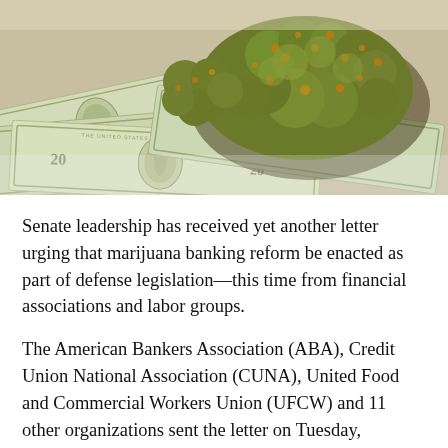[Figure (photo): Close-up photograph of cannabis (marijuana) buds resting on top of US dollar bills (20-dollar notes visible), on a light background.]
Senate leadership has received yet another letter urging that marijuana banking reform be enacted as part of defense legislation—this time from financial associations and labor groups.
The American Bankers Association (ABA), Credit Union National Association (CUNA), United Food and Commercial Workers Union (UFCW) and 11 other organizations sent the letter on Tuesday, imploring members to adopt language protecting banks that work with state-legal cannabis businesses in the National